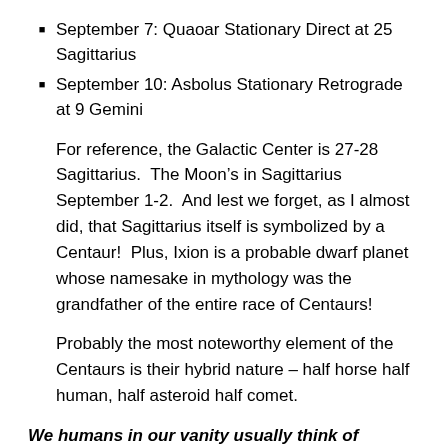September 7: Quaoar Stationary Direct at 25 Sagittarius
September 10: Asbolus Stationary Retrograde at 9 Gemini
For reference, the Galactic Center is 27-28 Sagittarius.  The Moon’s in Sagittarius September 1-2.  And lest we forget, as I almost did, that Sagittarius itself is symbolized by a Centaur!  Plus, Ixion is a probable dwarf planet whose namesake in mythology was the grandfather of the entire race of Centaurs!
Probably the most noteworthy element of the Centaurs is their hybrid nature – half horse half human, half asteroid half comet.
We humans in our vanity usually think of ourselves as